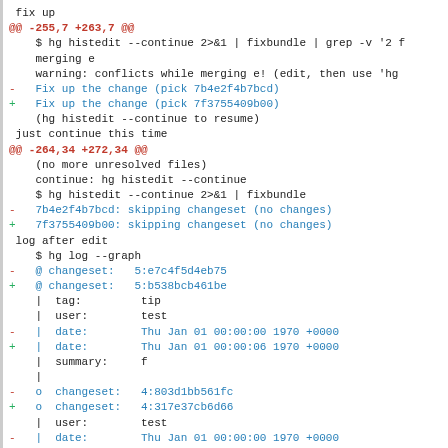fix up
@@ -255,7 +263,7 @@
    $ hg histedit --continue 2>&1 | fixbundle | grep -v '2 f
    merging e
    warning: conflicts while merging e! (edit, then use 'hg
-   Fix up the change (pick 7b4e2f4b7bcd)
+   Fix up the change (pick 7f3755409b00)
    (hg histedit --continue to resume)

 just continue this time
@@ -264,34 +272,34 @@
    (no more unresolved files)
    continue: hg histedit --continue
    $ hg histedit --continue 2>&1 | fixbundle
-   7b4e2f4b7bcd: skipping changeset (no changes)
+   7f3755409b00: skipping changeset (no changes)

 log after edit
    $ hg log --graph
-   @ changeset:   5:e7c4f5d4eb75
+   @ changeset:   5:b538bcb461be
    |  tag:         tip
    |  user:        test
-   |  date:        Thu Jan 01 00:00:00 1970 +0000
+   |  date:        Thu Jan 01 00:00:06 1970 +0000
    |  summary:     f
    |
-   o  changeset:   4:803d1bb561fc
+   o  changeset:   4:317e37cb6d66
    |  user:        test
-   |  date:        Thu Jan 01 00:00:00 1970 +0000
+   |  date:        Thu Jan 01 00:00:04 1970 +0000